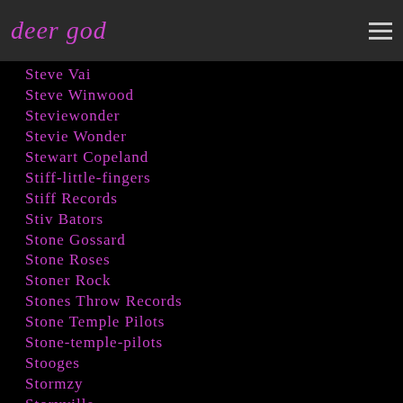deer god
Steve Vai
Steve Winwood
Steviewonder
Stevie Wonder
Stewart Copeland
Stiff-little-fingers
Stiff Records
Stiv Bators
Stone Gossard
Stone Roses
Stoner Rock
Stones Throw Records
Stone Temple Pilots
Stone-temple-pilots
Stooges
Stormzy
Storyville